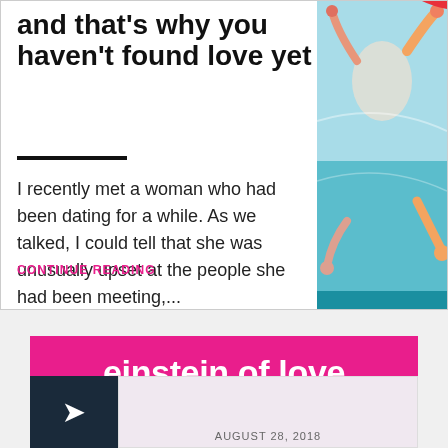using a ENFP to the table m and that's why you haven't found love yet
I recently met a woman who had been dating for a while. As we talked, I could tell that she was unusually upset at the people she had been meeting,...
CONTINUE READING
[Figure (illustration): Colorful illustration of people socializing with raised hands and arms on teal/blue background]
einstein of love
AUGUST 28, 2018